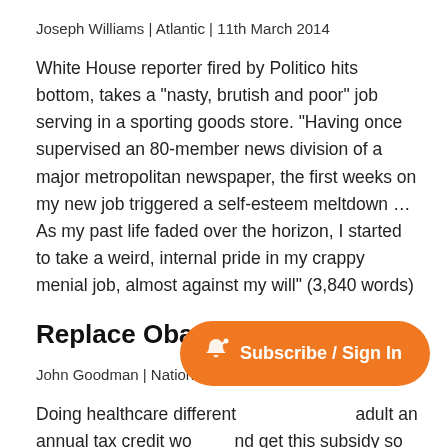Joseph Williams | Atlantic | 11th March 2014
White House reporter fired by Politico hits bottom, takes a "nasty, brutish and poor" job serving in a sporting goods store. "Having once supervised an 80-member news division of a major metropolitan newspaper, the first weeks on my new job triggered a self-esteem meltdown … As my past life faded over the horizon, I started to take a weird, internal pride in my crappy menial job, almost against my will" (3,840 words)
Replace Obamacare
John Goodman | National Review | 10th March 2014
Doing healthcare different... adult an annual tax credit wo... and get this subsidy so long as they obtained credible
[Figure (other): Orange rounded Subscribe / Sign In button with a small notification icon]